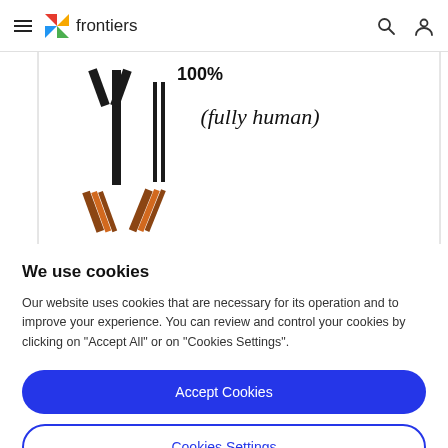frontiers
[Figure (illustration): Partially visible scientific diagram showing antibody structure with text '(fully human)' and illustrated Y-shaped antibody forms in black and brown/orange coloring against white background]
We use cookies
Our website uses cookies that are necessary for its operation and to improve your experience. You can review and control your cookies by clicking on "Accept All" or on "Cookies Settings".